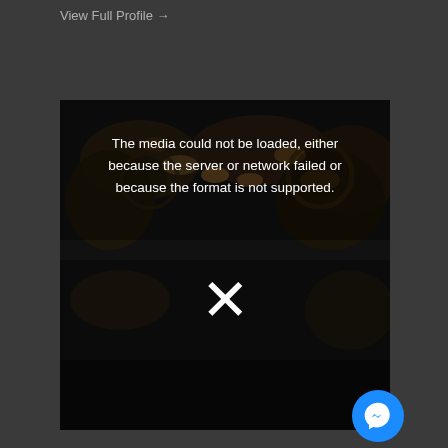View Full Profile →
[Figure (screenshot): Video player showing media load error. Dark background with bees/insects photo partially visible. Center text reads: 'The media could not be loaded, either because the server or network failed or because the format is not supported.' A white X symbol is shown below the text. A blue Facebook Messenger chat button is in the bottom-right corner.]